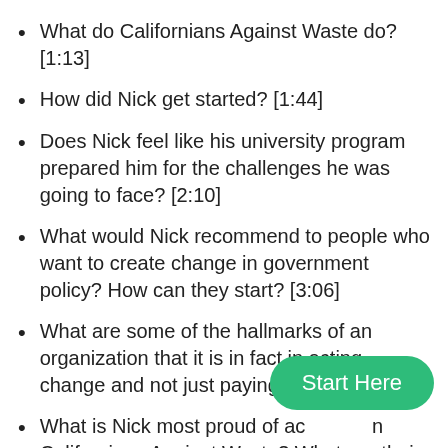What do Californians Against Waste do? [1:13]
How did Nick get started? [1:44]
Does Nick feel like his university program prepared him for the challenges he was going to face? [2:10]
What would Nick recommend to people who want to create change in government policy? How can they start? [3:06]
What are some of the hallmarks of an organization that it is in fact in acting change and not just paying lip servic…
What is Nick most proud of ac… Californians Against Waste? What are their